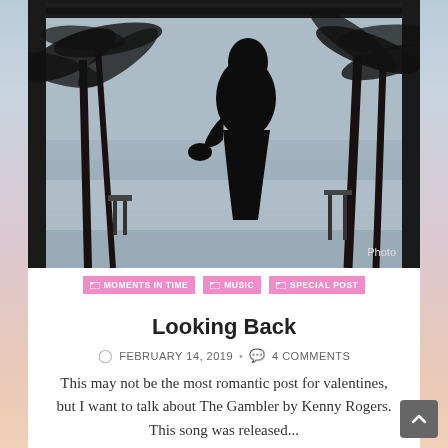[Figure (photo): Black and white photograph of a woman's silhouette standing in front of palm trees at a beach, with a pergola/overhang structure above. The woman appears to be holding something. Text 'Photo' appears in bottom right corner.]
MOMENTS IN TIME  MUSIC  SPECIAL POST
Looking Back
FEBRUARY 14, 2019  •  4 COMMENTS
This may not be the most romantic post for valentines, but I want to talk about The Gambler by Kenny Rogers. This song was released...